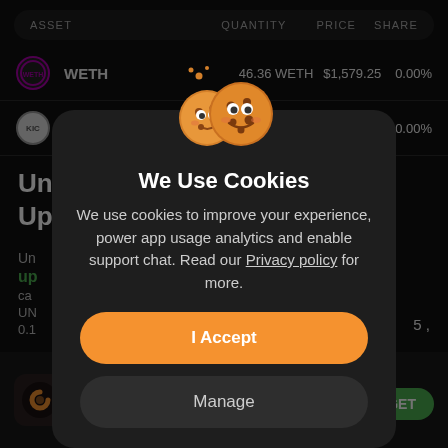ASSET   QUANTITY   PRICE   SHARE
WETH   46.36 WETH   $1,579.25   0.00%
KickToken   548.0...   $0   0.00%
We Use Cookies
We use cookies to improve your experience, power app usage analytics and enable support chat. Read our Privacy policy for more.
I Accept
Manage